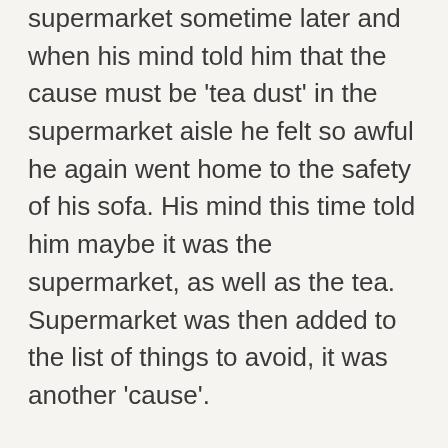supermarket sometime later and when his mind told him that the cause must be 'tea dust' in the supermarket aisle he felt so awful he again went home to the safety of his sofa. His mind this time told him maybe it was the supermarket, as well as the tea. Supermarket was then added to the list of things to avoid, it was another 'cause'.
When we started to talk about his life at the time of the original panic he experienced, we were able to establish that the business he was working for was struggling and he had been very worried at the time about being made redundant.